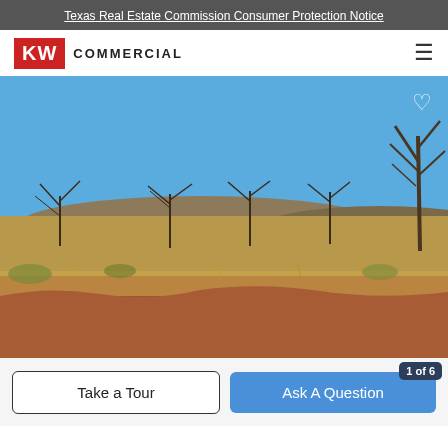Texas Real Estate Commission Consumer Protection Notice
[Figure (logo): KW Commercial logo with red KW box and COMMERCIAL text]
[Figure (photo): Outdoor landscape photo showing dry scrubland with sparse trees under a clear blue sky, red/brown soil foreground, Texas ranch land]
Take a Tour
Ask A Question
1 of 6